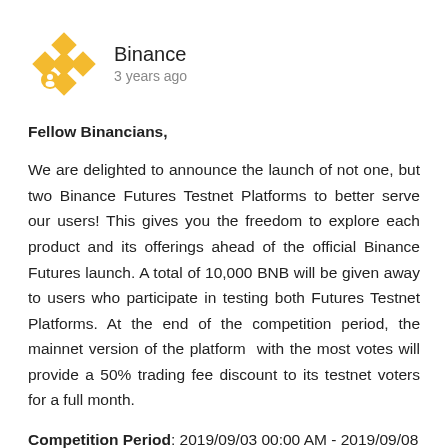[Figure (logo): Binance logo: golden diamond shape made of four rotated squares, with a small user/person icon badge at bottom-left]
Binance
3 years ago
Fellow Binancians,
We are delighted to announce the launch of not one, but two Binance Futures Testnet Platforms to better serve our users! This gives you the freedom to explore each product and its offerings ahead of the official Binance Futures launch. A total of 10,000 BNB will be given away to users who participate in testing both Futures Testnet Platforms. At the end of the competition period, the mainnet version of the platform  with the most votes will provide a 50% trading fee discount to its testnet voters for a full month.
Competition Period: 2019/09/03 00:00 AM - 2019/09/08 00:00 AM (UTC)